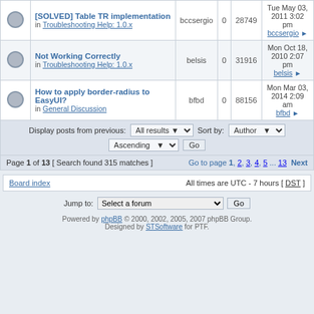|  | Topic | Author | Replies | Views | Last post |
| --- | --- | --- | --- | --- | --- |
|  | [SOLVED] Table TR implementation in Troubleshooting Help: 1.0.x | bccsergio | 0 | 28749 | Tue May 03, 2011 3:02 pm bccsergio |
|  | Not Working Correctly in Troubleshooting Help: 1.0.x | belsis | 0 | 31916 | Mon Oct 18, 2010 2:07 pm belsis |
|  | How to apply border-radius to EasyUI? in General Discussion | bfbd | 0 | 88156 | Mon Mar 03, 2014 2:09 am bfbd |
Display posts from previous: All results  Sort by: Author  Ascending  Go
Page 1 of 13 [ Search found 315 matches ]  Go to page 1, 2, 3, 4, 5 ... 13  Next
Board index  All times are UTC - 7 hours [ DST ]
Jump to: Select a forum  Go
Powered by phpBB © 2000, 2002, 2005, 2007 phpBB Group. Designed by STSoftware for PTF.